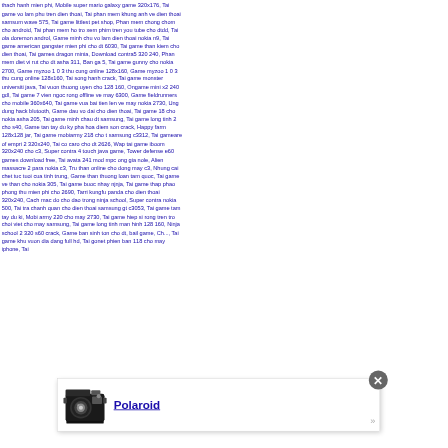thach hanh mien phi, Mobile super mario galaxy game 320x176, Tai game vo lam phu tren dien thoai, Tai phan mem khung anh ve dien thoai samsum wave 575, Tai game littlest pet shop, Phan mem chong chom cho android, Tai phan mem ho tro xem phim tren you tube cho dtdd, Tai ola doremon androl, Game minh chu vo lam dien thoai nokia n9, Tai game american gangster mien phi cho dt 6030, Tai game than kiem cho dien thoai, Tai games dragon minia, Download contra5 320 240, Phan mem diet vi rut cho dt asha 311, Ban ga 5, Tai game gunny cho nokia 2700, Game myzoo 1 0 3 thu cung online 128x160, Game myzoo 1 0 3 thu cung online 128x160, Tai song hanh crack, Tai game monster universiti java, Tai vuon thuong uyen cho 128 160, Ongame mini x2 240 gdl, Tai game 7 vien ngoc rong offline ve may 6300, Game fieldrunners cho mobile 360x640, Tai game vua bai tien len ve may nokia 2730, Ung dung hack blutooth, Game dau vo dai cho dien thoai, Tai game 18 cho nokia asha 205, Tai game minh chau dt samsung, Tai game long tinh 2 cho s40, Game tan tay du ky pha hoa diem son crack, Happy farm 128x128 jar, Tai game mobiarmy 218 cho t samsung c3312, Tai gameare of empri 2 320x240, Tai co caro cho dt 2626, Wap tai game iboom 320x240 cho c3, Super contra 4 touch java game, Tower defense e60 games download free, Tai avata 241 mod mpc ong gia nole, Alien massacre 2 para nokia c3, Tru than online cho dong may c3, Nhung cai chet tuc tuoi cua tinh trung, Game than thuong loan tam quoc, Tai game ve than cho nokia 305, Tai game buoc nhay njnja, Tai game thap phao phong thu mien phi cho 2690, Tarri kungfu panda cho dien thoai 320x240, Cach mac do cho dao trong ninja school, Super contra nokia 500, Tai tra chanh quan cho dien thoai samsung gt c3053, Tai game tam tay du ki, Mobi army 220 cho may 2730, Tai game hiep si rong tren tro choi viet cho may samsung, Tai game long tinh man hinh 128 160, Ninja school 2 320 s60 crack, Game ban sinh ton cho dt, bail game, Ch..., Tai game khu vuon dia dang full hd, Tai gonet phien ban 118 cho may iphone, Tai
[Figure (other): Popup advertisement overlay showing a Polaroid camera image on the left and the text 'Polaroid' as a bold underlined link in blue. A close button (X) appears in the top-right corner of the popup, and a right-arrow chevron (») appears in the bottom-right corner.]